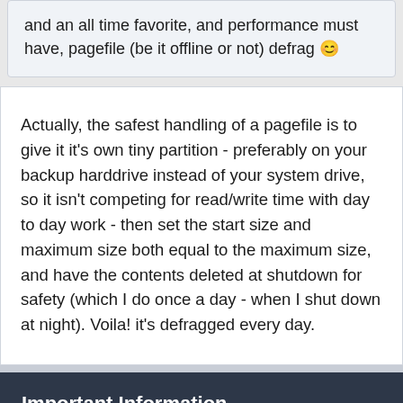and an all time favorite, and performance must have, pagefile (be it offline or not) defrag 😊
Actually, the safest handling of a pagefile is to give it it's own tiny partition - preferably on your backup harddrive instead of your system drive, so it isn't competing for read/write time with day to day work - then set the start size and maximum size both equal to the maximum size, and have the contents deleted at shutdown for safety (which I do once a day - when I shut down at night). Voila! it's defragged every day.
Important Information
By using this site, you agree to our Terms of Use.
✓  I accept